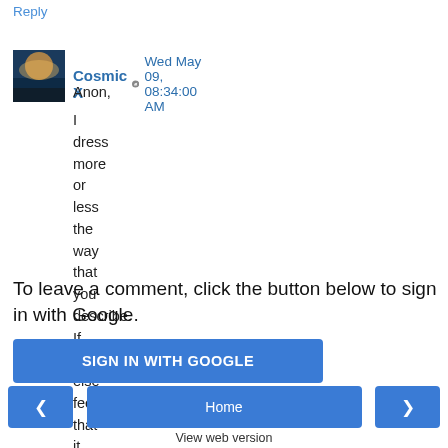Reply
Cosmic X  Wed May 09, 08:34:00 AM
Anon,
I dress more or less the way that you describe. If someone else feels that it is important to wear a black jacket all year round, that is his right and I have nothing against it.
Reply
To leave a comment, click the button below to sign in with Google.
SIGN IN WITH GOOGLE
Home
View web version